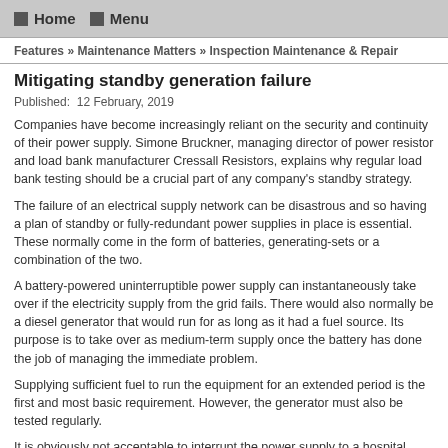Home  Menu
Features » Maintenance Matters » Inspection Maintenance & Repair
Mitigating standby generation failure
Published:  12 February, 2019
Companies have become increasingly reliant on the security and continuity of their power supply. Simone Bruckner, managing director of power resistor and load bank manufacturer Cressall Resistors, explains why regular load bank testing should be a crucial part of any company's standby strategy.
The failure of an electrical supply network can be disastrous and so having a plan of standby or fully-redundant power supplies in place is essential. These normally come in the form of batteries, generating-sets or a combination of the two.
A battery-powered uninterruptible power supply can instantaneously take over if the electricity supply from the grid fails. There would also normally be a diesel generator that would run for as long as it had a fuel source. Its purpose is to take over as medium-term supply once the battery has done the job of managing the immediate problem.
Supplying sufficient fuel to run the equipment for an extended period is the first and most basic requirement. However, the generator must also be tested regularly.
It is obviously not acceptable to interrupt the power supply to a hospital, financial centre or other critical application once a month by connecting the generator to run a test.